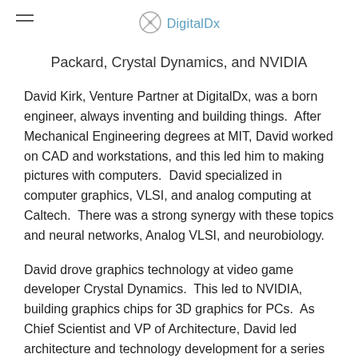DigitalDx
Packard, Crystal Dynamics, and NVIDIA
David Kirk, Venture Partner at DigitalDx, was a born engineer, always inventing and building things. After Mechanical Engineering degrees at MIT, David worked on CAD and workstations, and this led him to making pictures with computers. David specialized in computer graphics, VLSI, and analog computing at Caltech. There was a strong synergy with these topics and neural networks, Analog VLSI, and neurobiology.
David drove graphics technology at video game developer Crystal Dynamics. This led to NVIDIA, building graphics chips for 3D graphics for PCs. As Chief Scientist and VP of Architecture, David led architecture and technology development for a series of products. In a few short years, single chip 3D PC graphics